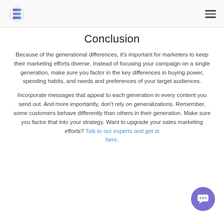[Logo] [Hamburger menu]
Conclusion
Because of the generational differences, it's important for marketers to keep their marketing efforts diverse. Instead of focusing your campaign on a single generation, make sure you factor in the key differences in buying power, spending habits, and needs and preferences of your target audiences.
Incorporate messages that appeal to each generation in every content you send out. And more importantly, don't rely on generalizations. Remember, some customers behave differently than others in their generation. Make sure you factor that into your strategy. Want to upgrade your sales marketing efforts? Talk to our experts and get started here.